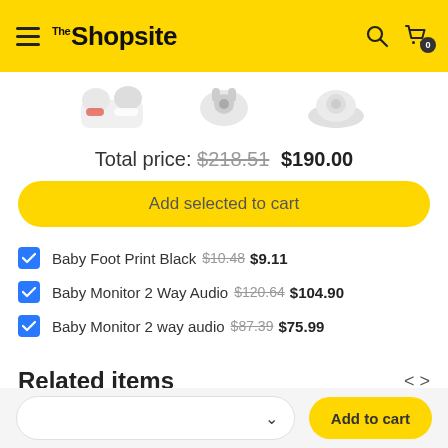The Shopsite
[Figure (photo): Three product images partially visible: baby shoes/sneakers on left, baby monitor headphones in center, round baby monitor device on right]
Total price: $218.51 $190.00
Add selected to cart
Baby Foot Print Black $10.48 $9.11
Baby Monitor 2 Way Audio $120.64 $104.90
Baby Monitor 2 way audio $87.39 $75.99
Related items
Add to cart